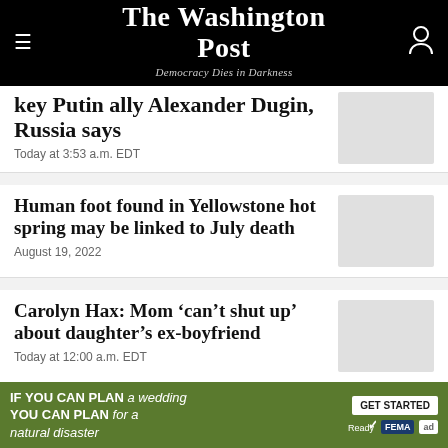The Washington Post — Democracy Dies in Darkness
key Putin ally Alexander Dugin, Russia says
Today at 3:53 a.m. EDT
Human foot found in Yellowstone hot spring may be linked to July death
August 19, 2022
Carolyn Hax: Mom 'can't shut up' about daughter's ex-boyfriend
Today at 12:00 a.m. EDT
IF YOU CAN PLAN A WEDDING YOU CAN PLAN FOR A NATURAL DISASTER — GET STARTED